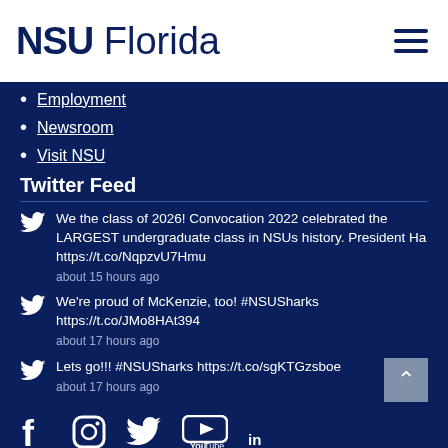NSU Florida
Employment
Newsroom
Visit NSU
Twitter Feed
We the class of 2026! Convocation 2022 celebrated the LARGEST undergraduate class in NSUs history. President Ha https://t.co/NqpzvU7Hmu
about 15 hours ago
We're proud of McKenzie, too! #NSUSharks https://t.co/JMo8HAt394
about 17 hours ago
Lets go!!! #NSUSharks https://t.co/sgKTGzsboe
about 17 hours ago
[Figure (infographic): Social media icons: Facebook, Instagram, Twitter, YouTube, LinkedIn]